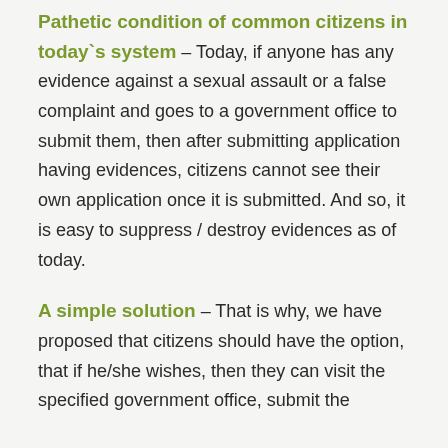Pathetic condition of common citizens in today`s system – Today, if anyone has any evidence against a sexual assault or a false complaint and goes to a government office to submit them, then after submitting application having evidences, citizens cannot see their own application once it is submitted. And so, it is easy to suppress / destroy evidences as of today.
A simple solution – That is why, we have proposed that citizens should have the option, that if he/she wishes, then they can visit the specified government office, submit the